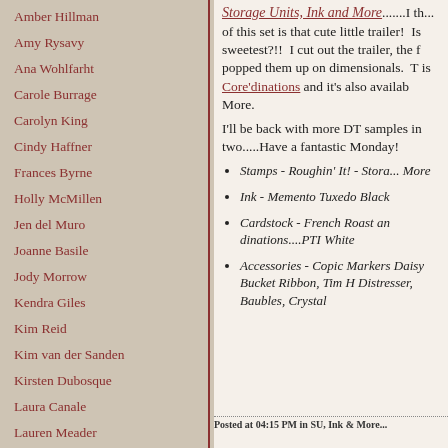Amber Hillman
Amy Rysavy
Ana Wohlfarht
Carole Burrage
Carolyn King
Cindy Haffner
Frances Byrne
Holly McMillen
Jen del Muro
Joanne Basile
Jody Morrow
Kendra Giles
Kim Reid
Kim van der Sanden
Kirsten Dubosque
Laura Canale
Lauren Meader
Storage Units, Ink and More.......I th... of this set is that cute little trailer! Is sweetest?!! I cut out the trailer, the f popped them up on dimensionals. T is Core'dinations and it's also availab More.
I'll be back with more DT samples in two.....Have a fantastic Monday!
Stamps - Roughin' It! - Stora... More
Ink - Memento Tuxedo Black
Cardstock - French Roast an dinations....PTI White
Accessories - Copic Markers Daisy Bucket Ribbon, Tim H Distresser, Baubles, Crystal
Posted at 04:15 PM in SU, Ink & More...